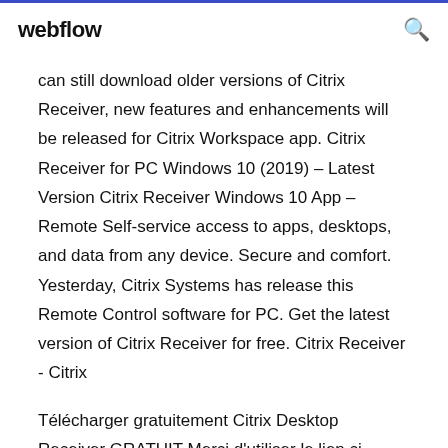webflow
can still download older versions of Citrix Receiver, new features and enhancements will be released for Citrix Workspace app. Citrix Receiver for PC Windows 10 (2019) – Latest Version Citrix Receiver Windows 10 App – Remote Self-service access to apps, desktops, and data from any device. Secure and comfort. Yesterday, Citrix Systems has release this Remote Control software for PC. Get the latest version of Citrix Receiver for free. Citrix Receiver - Citrix
Télécharger gratuitement Citrix Desktop Receiver GRATUIT Merci d'utiliser le lien ci-dessous afin de télécharger Citrix Desktop